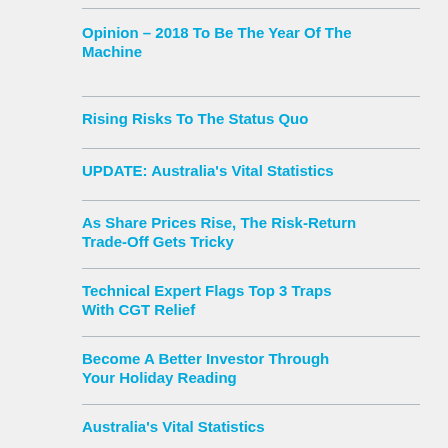Opinion – 2018 To Be The Year Of The Machine
Rising Risks To The Status Quo
UPDATE: Australia's Vital Statistics
As Share Prices Rise, The Risk-Return Trade-Off Gets Tricky
Technical Expert Flags Top 3 Traps With CGT Relief
Become A Better Investor Through Your Holiday Reading
Australia's Vital Statistics
Made In Albania? How Globalisation Is